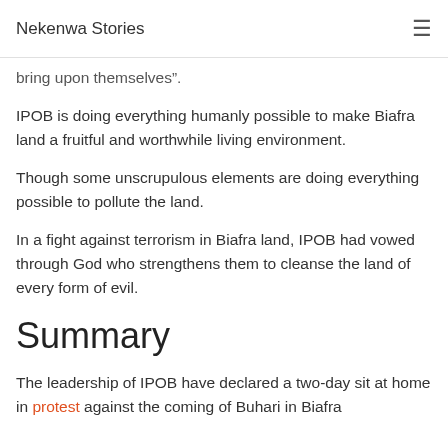Nekenwa Stories
bring upon themselves”.
IPOB is doing everything humanly possible to make Biafra land a fruitful and worthwhile living environment.
Though some unscrupulous elements are doing everything possible to pollute the land.
In a fight against terrorism in Biafra land, IPOB had vowed through God who strengthens them to cleanse the land of every form of evil.
Summary
The leadership of IPOB have declared a two-day sit at home in protest against the coming of Buhari in Biafra